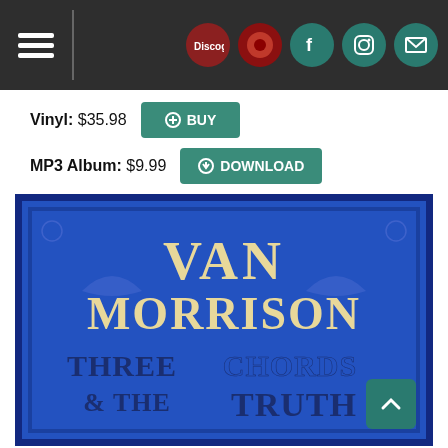Navigation bar with hamburger menu and social icons (Discogs, red icon, Facebook, Instagram, Mail)
Vinyl: $35.98 [BUY]
MP3 Album: $9.99 [DOWNLOAD]
[Figure (photo): Album cover for Van Morrison - Three Chords & The Truth. Blue decorative typography on a dark blue background with ornamental flourishes.]